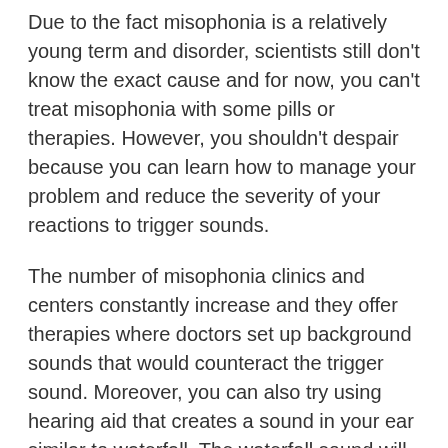Due to the fact misophonia is a relatively young term and disorder, scientists still don't know the exact cause and for now, you can't treat misophonia with some pills or therapies. However, you shouldn't despair because you can learn how to manage your problem and reduce the severity of your reactions to trigger sounds.
The number of misophonia clinics and centers constantly increase and they offer therapies where doctors set up background sounds that would counteract the trigger sound. Moreover, you can also try using hearing aid that creates a sound in your ear similar to waterfall. The waterfall sound will distract you from paying attention to the trigger sound.